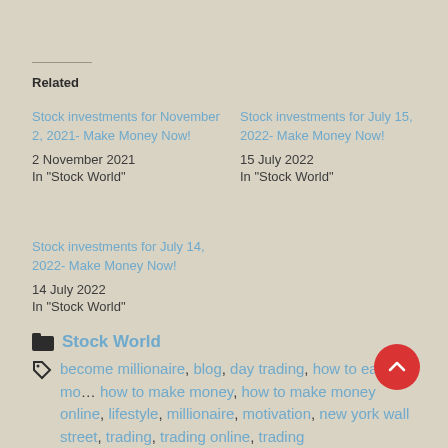Related
Stock investments for November 2, 2021- Make Money Now!
2 November 2021
In "Stock World"
Stock investments for July 15, 2022- Make Money Now!
15 July 2022
In "Stock World"
Stock investments for July 14, 2022- Make Money Now!
14 July 2022
In "Stock World"
Stock World
become millionaire, blog, day trading, how to earn money, how to make money, how to make money online, lifestyle, millionaire, motivation, new york wall street, trading, trading online, trading